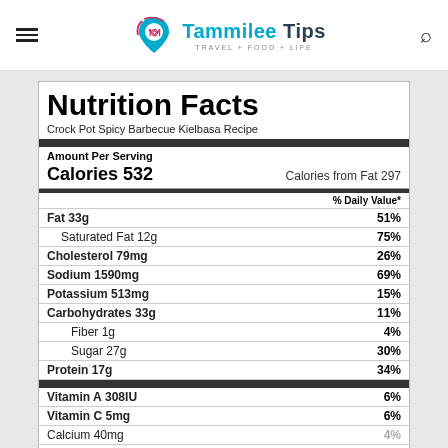Tammilee Tips - TRAVEL+FOOD+LIFE
Nutrition Facts
Crock Pot Spicy Barbecue Kielbasa Recipe
| Nutrient | Amount | % Daily Value |
| --- | --- | --- |
| Amount Per Serving |  |  |
| Calories | 532 | Calories from Fat 297 |
| Fat | 33g | 51% |
| Saturated Fat | 12g | 75% |
| Cholesterol | 79mg | 26% |
| Sodium | 1590mg | 69% |
| Potassium | 513mg | 15% |
| Carbohydrates | 33g | 11% |
| Fiber | 1g | 4% |
| Sugar | 27g | 30% |
| Protein | 17g | 34% |
| Vitamin A | 308IU | 6% |
| Vitamin C | 5mg | 6% |
| Calcium | 40mg | 4% |
| Iron | 2mg | 11% |
* Percent Daily Values are based on a 2000